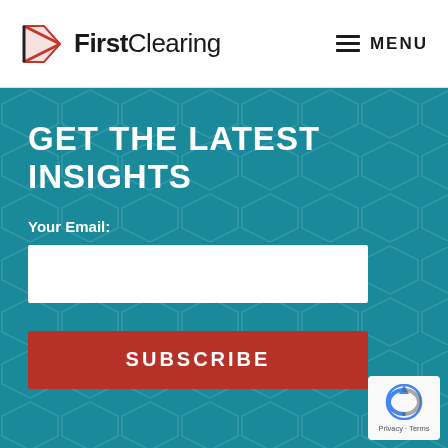FirstClearing MENU
GET THE LATEST INSIGHTS
Your Email:
[Figure (screenshot): Email input text field (white rectangle)]
[Figure (screenshot): SUBSCRIBE button (red/dark red rectangle with white uppercase text)]
[Figure (logo): Google reCAPTCHA badge with Privacy and Terms links]